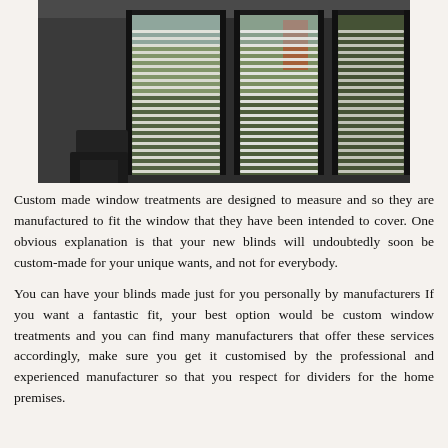[Figure (photo): Interior photo of a room with large windows fitted with white horizontal blinds, dark window frames, and a chair visible. Natural light comes through the blinds.]
Custom made window treatments are designed to measure and so they are manufactured to fit the window that they have been intended to cover. One obvious explanation is that your new blinds will undoubtedly soon be custom-made for your unique wants, and not for everybody.
You can have your blinds made just for you personally by manufacturers If you want a fantastic fit, your best option would be custom window treatments and you can find many manufacturers that offer these services accordingly, make sure you get it customised by the professional and experienced manufacturer so that you respect for dividers for the home premises.